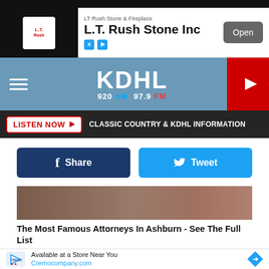[Figure (screenshot): Top advertisement banner for L.T. Rush Stone Inc with logo, text, and Open button]
[Figure (logo): KDHL radio station header with 920 AM and 97.9 FM frequencies, hamburger menu, and play button]
LISTEN NOW ▶   CLASSIC COUNTRY & KDHL INFORMATION
[Figure (screenshot): Facebook Share and Twitter Tweet social sharing buttons]
[Figure (photo): Partial image of attorneys/lawyers background photo]
The Most Famous Attorneys In Ashburn - See The Full List
Attorneys | Search Ads
[Figure (illustration): Cartoon illustration of a character with brown hair on purple background]
[Figure (screenshot): Cremo advertisement banner: Available at a Store Near You, Cremocompany.com]